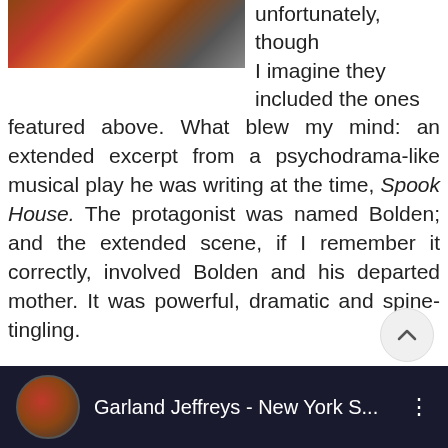[Figure (photo): Partial image of a colorful mosaic or tiled surface with some objects in background, cropped at top of page]
unfortunately, though I imagine they included the ones featured above. What blew my mind: an extended excerpt from a psychodrama-like musical play he was writing at the time, Spook House. The protagonist was named Bolden; and the extended scene, if I remember it correctly, involved Bolden and his departed mother. It was powerful, dramatic and spine-tingling.
I also remember this: a sterling rendition of “New York Skyline” closing the show. That was but a few months after 9/11, of course, and I’m sure my – and everyone’s – reaction to it was colored by the emotions of the time. It was jaw-droppingly beautiful.
[Figure (screenshot): YouTube video thumbnail showing Garland Jeffreys - New York S... with circular profile photo of artist]